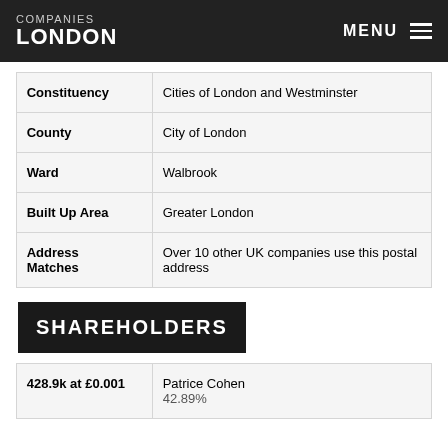COMPANIES LONDON | MENU
| Field | Value |
| --- | --- |
| Constituency | Cities of London and Westminster |
| County | City of London |
| Ward | Walbrook |
| Built Up Area | Greater London |
| Address Matches | Over 10 other UK companies use this postal address |
SHAREHOLDERS
| Shares | Shareholder |
| --- | --- |
| 428.9k at £0.001 | Patrice Cohen
42.89% |